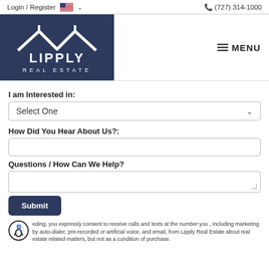Login / Register   (727) 314-1000
[Figure (logo): Lipply Real Estate logo — white house/roof icon with LIPPLY REAL ESTATE text on dark navy background]
MENU
I am Interested in:
Select One
How Did You Hear About Us?:
Questions / How Can We Help?
Submit
eding, you expressly consent to receive calls and texts at the number you , including marketing by auto-dialer, pre-recorded or artificial voice, and email, from Lipply Real Estate about real estate related matters, but not as a condition of purchase. Message frequency varies. You can text Help for help and Stop to cancel.